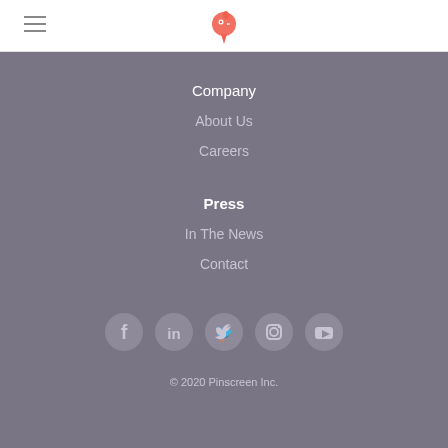[Figure (logo): Pinscreen logo — a stylized red/coral bird icon in the page header]
Company
About Us
Careers
Press
In The News
Contact
[Figure (illustration): Social media icons row: Facebook, LinkedIn, Twitter, Instagram, YouTube]
© 2020 Pinscreen Inc.